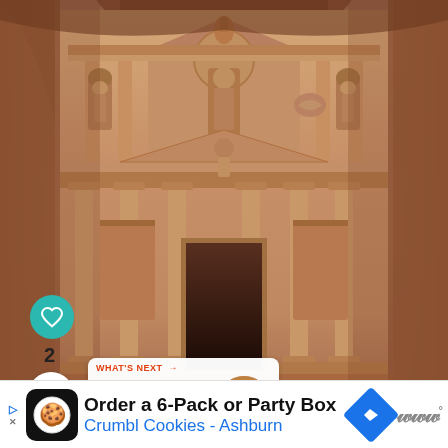[Figure (photo): Photograph of the ancient Petra Treasury (Al-Khazneh) in Jordan, carved into rose-red sandstone cliffs. The facade shows elaborate Hellenistic architecture with columns, pediments, and carved statues. On-screen UI overlays include a teal heart/like button, a like count of 2, a share button, and a 'What's Next' card with thumbnail.]
2
WHAT'S NEXT →
When is the Best Time to...
Order a 6-Pack or Party Box
Crumbl Cookies - Ashburn